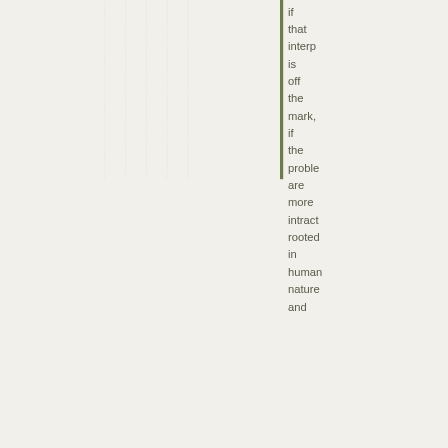if that interp is off the mark, if the proble are more intract rooted in human nature and